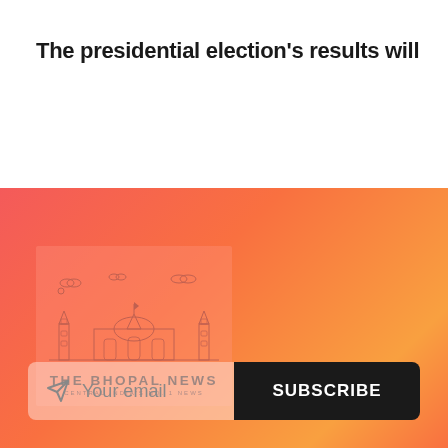The presidential election's results will
[Figure (logo): The Bhopal News logo with illustrated skyline of Bhopal monuments, text 'THE BHOPAL NEWS' and subtitle 'CENTRAL INDIA'S NO. 1 NEWS']
Your email
SUBSCRIBE